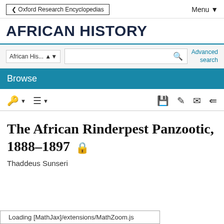Oxford Research Encyclopedias  Menu
AFRICAN HISTORY
African His... [search box] Advanced search
Browse
The African Rinderpest Panzootic, 1888–1897
Thaddeus Sunseri
Loading [MathJax]/extensions/MathZoom.js